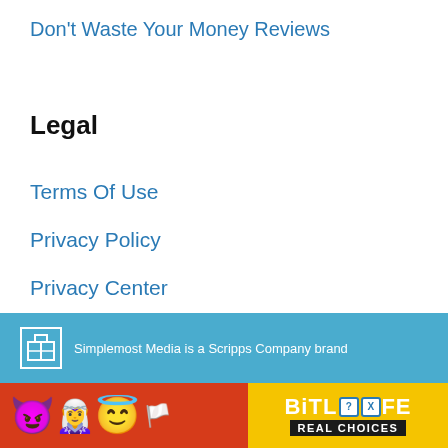Don't Waste Your Money Reviews
Legal
Terms Of Use
Privacy Policy
Privacy Center
Do Not Sell My Personal Information
Simplemost Media is a Scripps Company brand
[Figure (screenshot): BitLife Real Choices game advertisement banner with emojis and yellow/black branding]